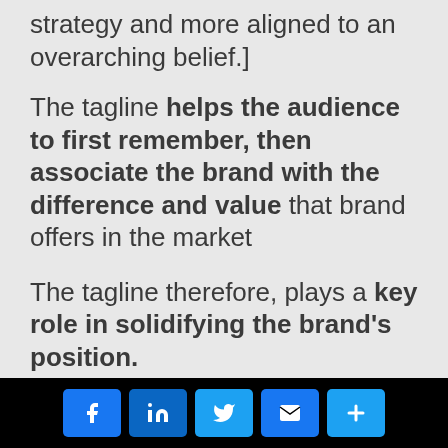strategy and more aligned to an overarching belief.]
The tagline helps the audience to first remember, then associate the brand with the difference and value that brand offers in the market
The tagline therefore, plays a key role in solidifying the brand's position.
Social share buttons: Facebook, LinkedIn, Twitter, Email, More